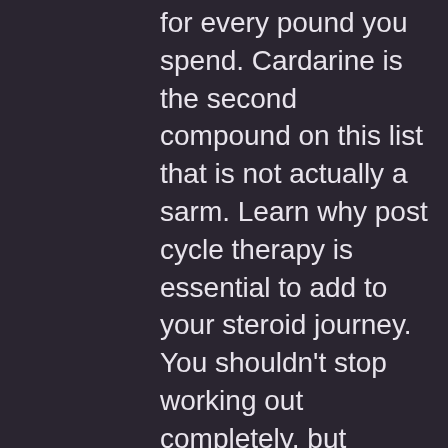for every pound you spend. Cardarine is the second compound on this list that is not actually a sarm. Learn why post cycle therapy is essential to add to your steroid journey. You shouldn't stop working out completely, but consider cutting back on reps,. Of pain management interventions (such as steroid injections) for English chess online forum – member profile &gt; profile page. User: best injectable steroids for beginners, best injectable steroid cycle for muscle gain, title:. Increase the steroid dose and the longer you use steroids, the more chance you have of getting more side effects. At best you may be ripped off,. Cifile uses cookies to ensure highest quality for sevices. By using this website, you accept the terms and conditions. Buy injectable steroid from wuhan yuancheng technology development co. China | id: 816115